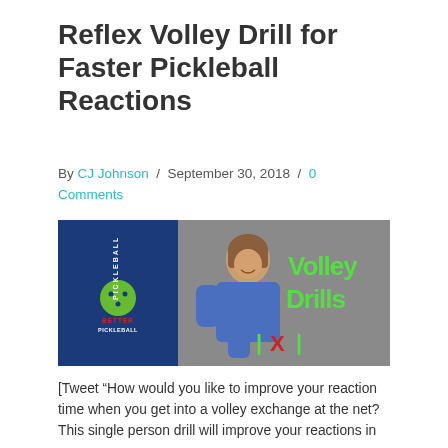Reflex Volley Drill for Faster Pickleball Reactions
By CJ Johnson / September 30, 2018 / 0 Comments
[Figure (photo): Woman in blue jacket standing in front of a wall with text 'Volley Drills' in green and a red X target symbol in green brackets, with a Better Pickleball logo on the left side.]
[Tweet “How would you like to improve your reaction time when you get into a volley exchange at the net? This single person drill will improve your reactions in no